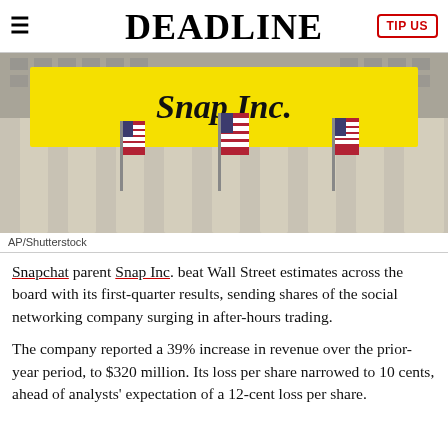DEADLINE
[Figure (photo): Photograph of the New York Stock Exchange building facade with a large yellow Snap Inc. banner hanging from it, and multiple American flags visible.]
AP/Shutterstock
Snapchat parent Snap Inc. beat Wall Street estimates across the board with its first-quarter results, sending shares of the social networking company surging in after-hours trading.
The company reported a 39% increase in revenue over the prior-year period, to $320 million. Its loss per share narrowed to 10 cents, ahead of analysts' expectation of a 12-cent loss per share.